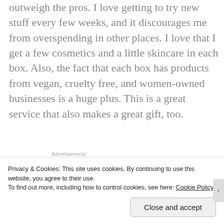Overall, I enjoy the boxes and the cons certainly don't outweigh the pros. I love getting to try new stuff every few weeks, and it discourages me from overspending in other places. I love that I get a few cosmetics and a little skincare in each box. Also, the fact that each box has products from vegan, cruelty free, and women-owned businesses is a huge plus. This is a great service that also makes a great gift, too.
Advertisements
[Figure (screenshot): Tumblr Ad-Free Browsing advertisement banner with blue gradient background, Tumblr logo, text '$39.99 a year or $4.99 a month']
Privacy & Cookies: This site uses cookies. By continuing to use this website, you agree to their use. To find out more, including how to control cookies, see here: Cookie Policy